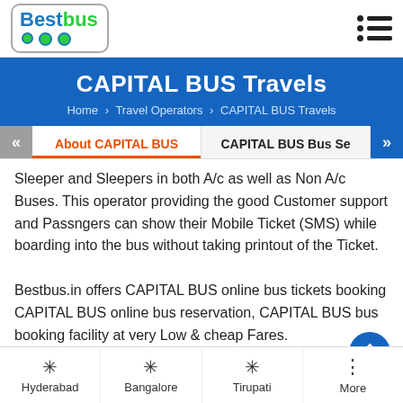BestBus logo and navigation menu
CAPITAL BUS Travels
Home > Travel Operators > CAPITAL BUS Travels
About CAPITAL BUS | CAPITAL BUS Bus Se
Sleeper and Sleepers in both A/c as well as Non A/c Buses. This operator providing the good Customer support and Passngers can show their Mobile Ticket (SMS) while boarding into the bus without taking printout of the Ticket.
Bestbus.in offers CAPITAL BUS online bus tickets booking CAPITAL BUS online bus reservation, CAPITAL BUS bus booking facility at very Low & cheap Fares.
Hyderabad | Bangalore | Tirupati | More